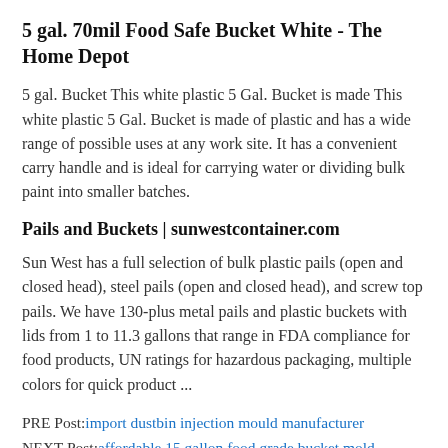5 gal. 70mil Food Safe Bucket White - The Home Depot
5 gal. Bucket This white plastic 5 Gal. Bucket is made This white plastic 5 Gal. Bucket is made of plastic and has a wide range of possible uses at any work site. It has a convenient carry handle and is ideal for carrying water or dividing bulk paint into smaller batches.
Pails and Buckets | sunwestcontainer.com
Sun West has a full selection of bulk plastic pails (open and closed head), steel pails (open and closed head), and screw top pails. We have 130-plus metal pails and plastic buckets with lids from 1 to 11.3 gallons that range in FDA compliance for food products, UN ratings for hazardous packaging, multiple colors for quick product ...
PRE Post: import dustbin injection mould manufacturer
NEXT Post: affordable 15 gallon food grade bucket mold